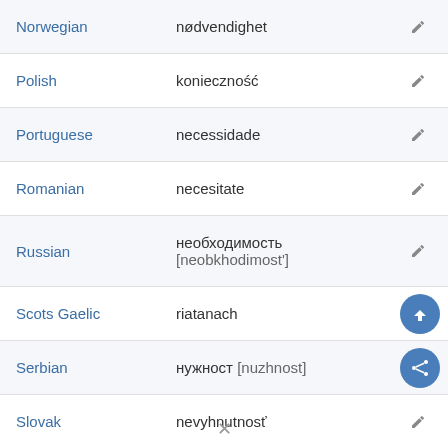| Language | Translation | Action |
| --- | --- | --- |
| Norwegian | nødvendighet | edit |
| Polish | konieczność | edit |
| Portuguese | necessidade | edit |
| Romanian | necesitate | edit |
| Russian | необходимость [neobkhodimost'] | edit |
| Scots Gaelic | riatanach | scroll-up |
| Serbian | нужност [nuzhnost] | share |
| Slovak | nevyhnutnosť | edit |